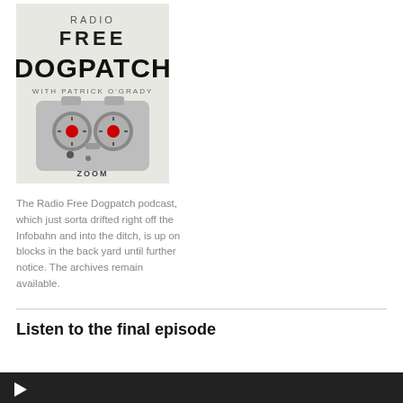[Figure (photo): Podcast cover art for Radio Free Dogpatch with Patrick O'Grady, featuring a Zoom audio recorder resembling a face with two red-dot dials as eyes, on a light background. Text reads RADIO FREE DOGPATCH WITH PATRICK O'GRADY.]
The Radio Free Dogpatch podcast, which just sorta drifted right off the Infobahn and into the ditch, is up on blocks in the back yard until further notice. The archives remain available.
Listen to the final episode
[Figure (screenshot): Dark audio player bar at the bottom of the page, partially visible, with a play button icon on the left.]